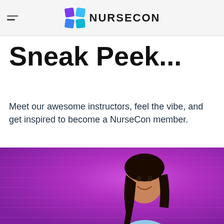NURSECON
Sneak Peek...
Meet our awesome instructors, feel the vibe, and get inspired to become a NurseCon member.
[Figure (photo): Photo of a smiling woman with dark hair wearing a light blue top, standing in front of a purple background]